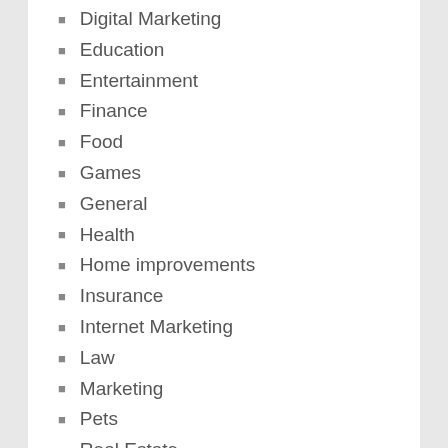Digital Marketing
Education
Entertainment
Finance
Food
Games
General
Health
Home improvements
Insurance
Internet Marketing
Law
Marketing
Pets
Real Estate
SEO
Shopping